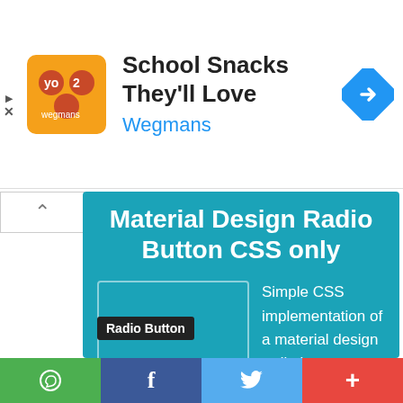[Figure (screenshot): Wegmans ad banner with orange logo, title 'School Snacks They'll Love', subtitle 'Wegmans', and a blue navigation diamond icon on the right]
Material Design Radio Button CSS only
Simple CSS implementation of a material design radio button. Tested in Chrome, Safari, Internet Explorer 11 and Firefox. ......
Radio Button
[Figure (screenshot): Bottom social sharing bar with WhatsApp (green), Facebook (dark blue), Twitter (light blue), and more (red) buttons]